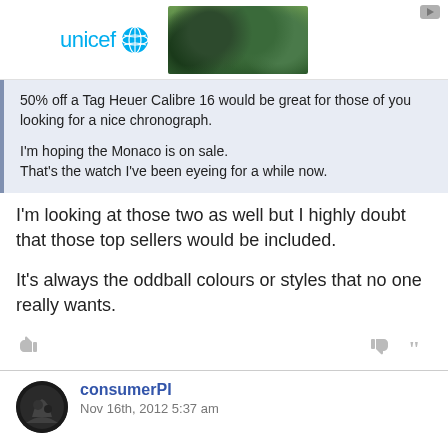[Figure (photo): UNICEF advertisement banner with logo on left and photo of smiling children wearing green hats on right, with play button in top right corner]
50% off a Tag Heuer Calibre 16 would be great for those of you looking for a nice chronograph.

I'm hoping the Monaco is on sale.
That's the watch I've been eyeing for a while now.
I'm looking at those two as well but I highly doubt that those top sellers would be included.

It's always the oddball colours or styles that no one really wants.
consumerPI
Nov 16th, 2012 5:37 am